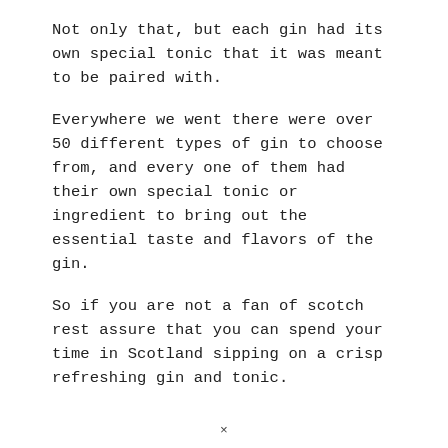Not only that, but each gin had its own special tonic that it was meant to be paired with.
Everywhere we went there were over 50 different types of gin to choose from, and every one of them had their own special tonic or ingredient to bring out the essential taste and flavors of the gin.
So if you are not a fan of scotch rest assure that you can spend your time in Scotland sipping on a crisp refreshing gin and tonic.
×